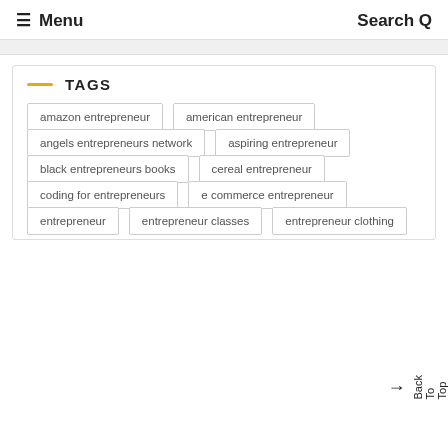≡ Menu   Search Q
TAGS
amazon entrepreneur
american entrepreneur
angels entrepreneurs network
aspiring entrepreneur
black entrepreneurs books
cereal entrepreneur
coding for entrepreneurs
e commerce entrepreneur
entrepreneur
entrepreneur classes
entrepreneur clothing
Back To Top